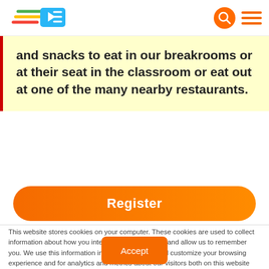[Logo: Tipsy Teachers] [Search icon] [Menu icon]
and snacks to eat in our breakrooms or at their seat in the classroom or eat out at one of the many nearby restaurants.
Register
This website stores cookies on your computer. These cookies are used to collect information about how you interact with our website and allow us to remember you. We use this information in order to improve and customize your browsing experience and for analytics and metrics about our visitors both on this website and other media. To find out more about the cookies we use, see our Privacy Policy.
Accept